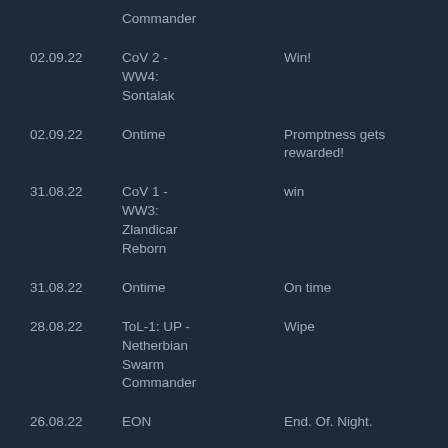| Date | Event | Result |
| --- | --- | --- |
|  | Commander |  |
| 02.09.22 | CoV 2 - WW4: Sontalak | Win! |
| 02.09.22 | Ontime | Promptness gets rewarded! |
| 31.08.22 | CoV 1 - WW3: Zlandicar Reborn | win |
| 31.08.22 | Ontime | On time |
| 28.08.22 | ToL-1: UP - Netherbian Swarm Commander | Wipe |
| 26.08.22 | EON | End. Of. Night. |
| 26.08.22 | ToL-2: KV - Shei Vinitras | Win! |